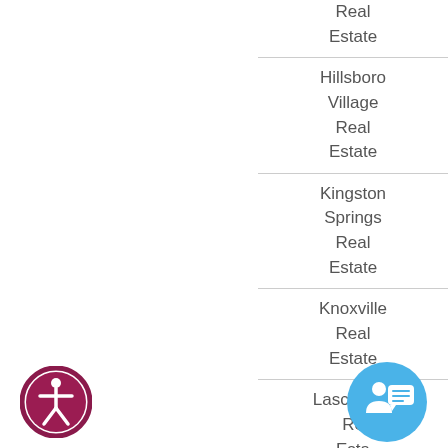Real Estate
Hillsboro Village Real Estate
Kingston Springs Real Estate
Knoxville Real Estate
Lascassas Real Estate
[Figure (illustration): Accessibility icon: circular badge with dark pink/maroon border and human figure symbol in white]
[Figure (illustration): Chat/support icon: circular blue badge with speech bubble and person symbol]